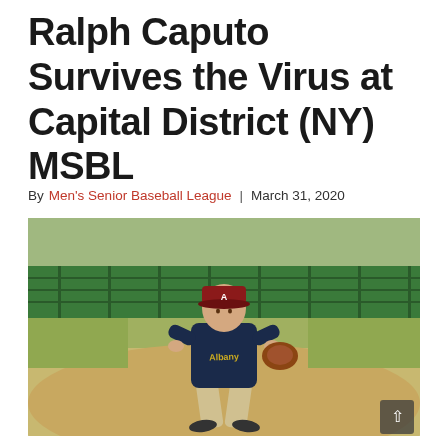Ralph Caputo Survives the Virus at Capital District (NY) MSBL
By Men's Senior Baseball League | March 31, 2020
[Figure (photo): A baseball player in a dark navy Albany jersey and red cap crouches in a fielding stance on a baseball diamond. A green outfield fence is visible in the background.]